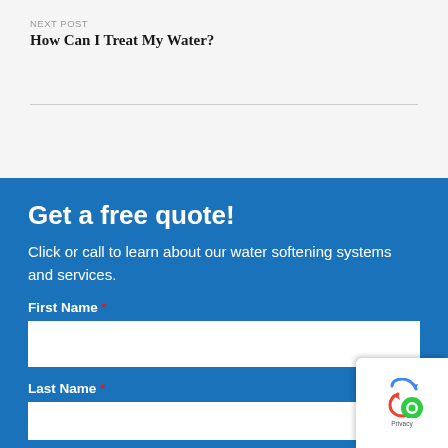NEXT POST
How Can I Treat My Water?
Get a free quote!
Click or call to learn about our water softening systems and services.
First Name *
Last Name *